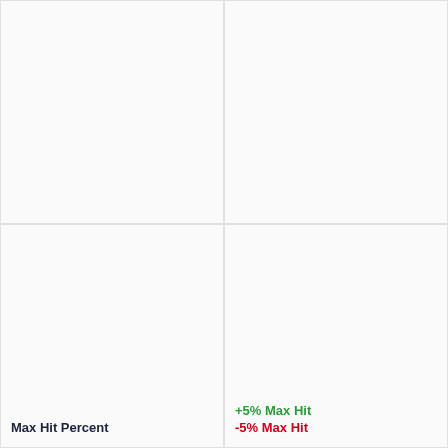[Figure (other): Top-left empty cell in a 2x2 grid layout]
[Figure (other): Top-right empty cell in a 2x2 grid layout]
Max Hit Percent
+5% Max Hit
-5% Max Hit